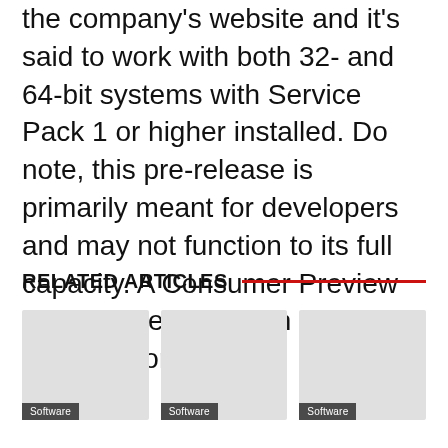the company's website and it's said to work with both 32- and 64-bit systems with Service Pack 1 or higher installed. Do note, this pre-release is primarily meant for developers and may not function to its full capacity. A Consumer Preview version is expected in the coming months.
RELATED ARTICLES
[Figure (photo): Three related article card thumbnails with 'Software' labels at the bottom left of each card image]